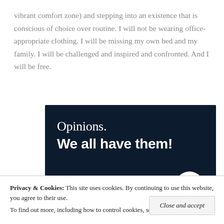vibrant comfort zone) and stepping into an existence that is conscious of choice over routine. I will not be wearing office-appropriate clothing. I will be missing my own bed and my family. I will be challenged and inspired and confronted. And I will be free.
[Figure (infographic): Dark navy advertisement banner reading 'Opinions. We all have them!' with a pink 'Start a survey' button and a circular CrowdSignal logo.]
Privacy & Cookies: This site uses cookies. By continuing to use this website, you agree to their use. To find out more, including how to control cookies, see here: Cookie Policy